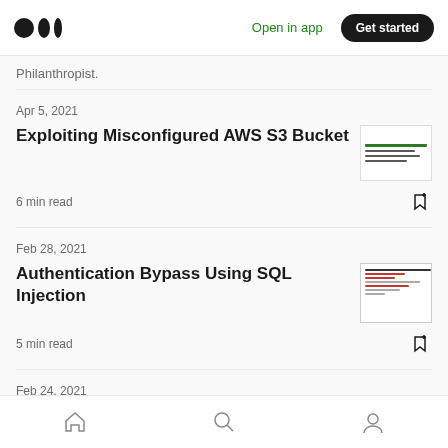Open in app | Get started
Philanthropist.
Apr 5, 2021
Exploiting Misconfigured AWS S3 Bucket
6 min read
Feb 28, 2021
Authentication Bypass Using SQL Injection
5 min read
Feb 24, 2021